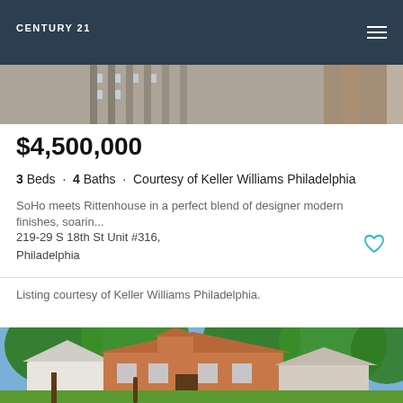CENTURY 21
[Figure (photo): Partial view of building facade/interior photo strip]
$4,500,000
3 Beds · 4 Baths · Courtesy of Keller Williams Philadelphia
SoHo meets Rittenhouse in a perfect blend of designer modern finishes, soarin...
219-29 S 18th St Unit #316,
Philadelphia
Listing courtesy of Keller Williams Philadelphia.
[Figure (photo): Exterior photo of a large brick colonial/traditional style house with green trees and lawn in summer]